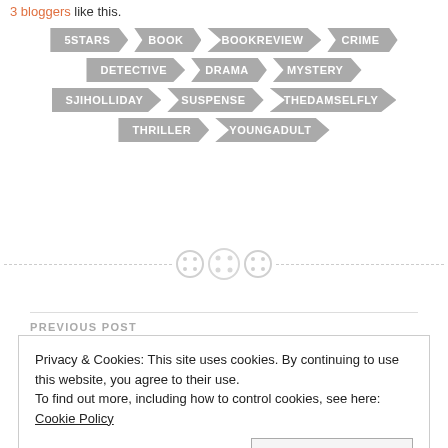3 bloggers like this.
5STARS
BOOK
BOOKREVIEW
CRIME
DETECTIVE
DRAMA
MYSTERY
SJIHOLLIDAY
SUSPENSE
THEDAMSELFLY
THRILLER
YOUNGADULT
[Figure (other): Decorative divider with three button icons on a dashed line]
PREVIOUS POST
Privacy & Cookies: This site uses cookies. By continuing to use this website, you agree to their use.
To find out more, including how to control cookies, see here: Cookie Policy
Close and accept